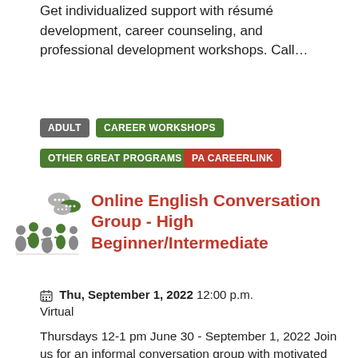Get individualized support with résumé development, career counseling, and professional development workshops. Call...
ADULT
CAREER WORKSHOPS
OTHER GREAT PROGRAMS
PA CAREERLINK
[Figure (illustration): Green and gray illustrated silhouettes of people in a conversation group with speech bubbles]
Online English Conversation Group - High Beginner/Intermediate
Thu, September 1, 2022 12:00 p.m. Virtual
Thursdays 12-1 pm June 30 - September 1, 2022 Join us for an informal conversation group with motivated